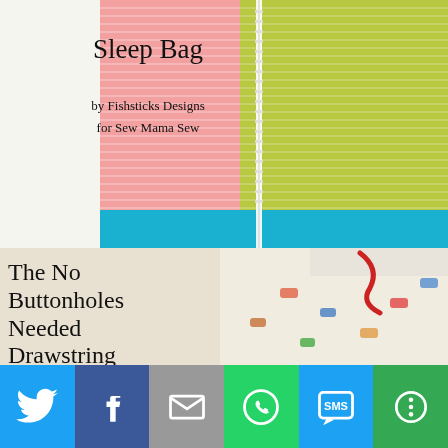[Figure (photo): Photo of sleep bags / sleeping bag sewing pattern by Fishsticks Designs for Sew Mama Sew, showing pink and green striped fabric with a zipper and blue base]
[Figure (photo): Photo of The No Buttonholes Needed Drawstring Tutorial sewing project with children's pants featuring car print fabric and red drawstring]
[Figure (infographic): Social sharing bar with Twitter, Facebook, Email, WhatsApp, SMS, and More buttons]